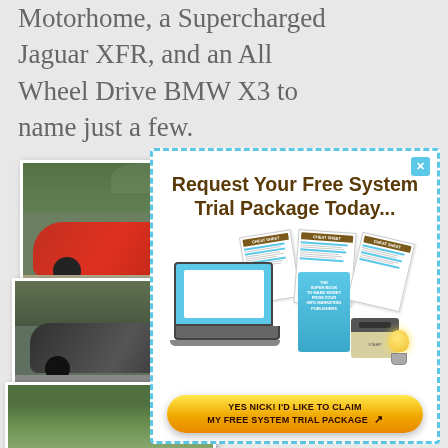Motorhome, a Supercharged Jaguar XFR, and an All Wheel Drive BMW X3 to name just a few.
[Figure (photo): Stacked photos of luxury cars including a red Jaguar and a dark BMW on outdoor settings]
[Figure (screenshot): Popup advertisement box with dashed blue border, title 'Request Your Free System Trial Package Today...', product bundle image with laptop, cheat sheets, book, and a yellow call-to-action button reading 'YES NICK! I'D LIKE TO CLAIM MY FREE SYSTEM TRIAL PACKAGE']